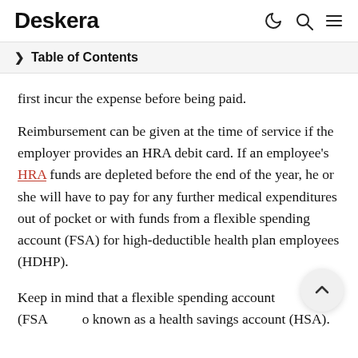Deskera
Table of Contents
first incur the expense before being paid.
Reimbursement can be given at the time of service if the employer provides an HRA debit card. If an employee's HRA funds are depleted before the end of the year, he or she will have to pay for any further medical expenditures out of pocket or with funds from a flexible spending account (FSA) for high-deductible health plan employees (HDHP).
Keep in mind that a flexible spending account (FSA) o known as a health savings account (HSA).